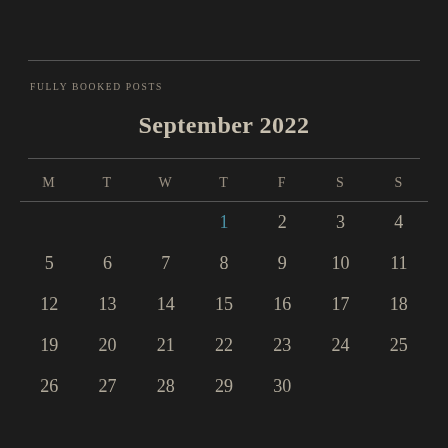FULLY BOOKED POSTS
September 2022
| M | T | W | T | F | S | S |
| --- | --- | --- | --- | --- | --- | --- |
|  |  |  | 1 | 2 | 3 | 4 |
| 5 | 6 | 7 | 8 | 9 | 10 | 11 |
| 12 | 13 | 14 | 15 | 16 | 17 | 18 |
| 19 | 20 | 21 | 22 | 23 | 24 | 25 |
| 26 | 27 | 28 | 29 | 30 |  |  |